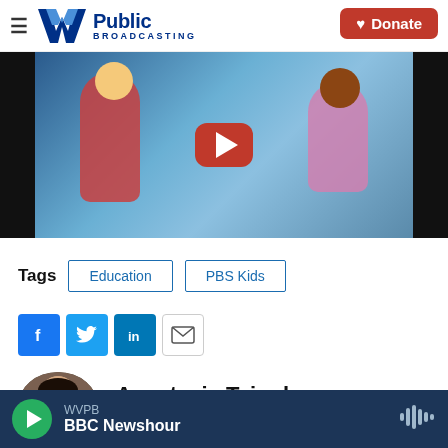W Public Broadcasting — Donate
[Figure (screenshot): Video thumbnail showing animated cartoon children, with a red YouTube play button overlay. Dark background on sides.]
Tags  Education  PBS Kids
[Figure (infographic): Social share icons: Facebook (blue), Twitter (blue), LinkedIn (blue), Email (white outline)]
[Figure (photo): Headshot of Anastasia Tsioulcas, a woman with dark hair]
Anastasia Tsioulcas
WVPB  BBC Newshour